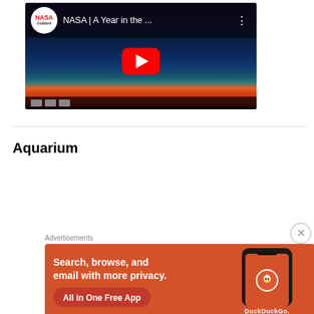[Figure (screenshot): YouTube video thumbnail for NASA | A Year in the ... by NASA Goddard, showing a heat map visualization of Earth with a red play button overlay]
Aquarium
[Figure (screenshot): YouTube video thumbnail for Kuroshio Sea - 2nd la... showing an ocean/aquarium scene with a red play button]
[Figure (screenshot): DuckDuckGo advertisement banner with orange background: Search, browse, and email with more privacy. All in One Free App. Shows DuckDuckGo logo on a phone.]